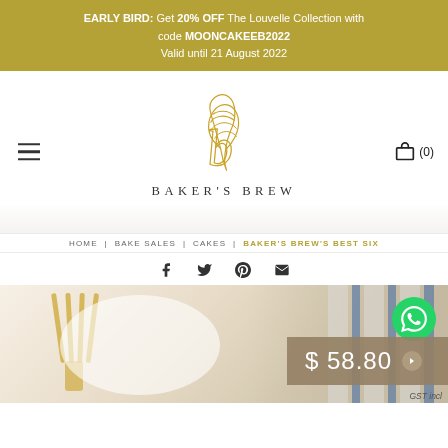EARLY BIRD: Get 20% OFF The Louvelle Collection with code MOONCAKEEB2022 Valid until 21 August 2022
[Figure (logo): Baker's Brew logo with whisk and brand name]
HOME | BAKE SALES | CAKES | BAKER'S BREW'S BEST SIX
[Figure (infographic): Social share icons: Facebook, Twitter, Pinterest, Email]
[Figure (photo): Product photo of cake with gold forks, price badge showing $58.80, WhatsApp button, GST included note]